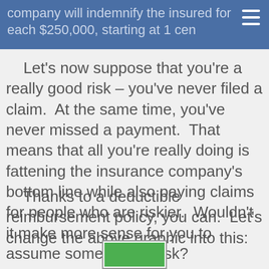company will indemnify the insured for each $250,000, starting at 1 cen…
Let's now suppose that you're a really good risk – you've never filed a claim.  At the same time, you've never missed a payment.  That means that all you're really doing is fattening the insurance company's bottom line while also paying claims for people who are riskier.  Wouldn't it make more sense for you to assume some of that risk?
Thanks to a deductible reimbursement policy, you can.  Let's change the above graphic into this:
[Figure (other): Partial view of a green rectangle with a grey border, shown at the bottom of the page, partially cropped.]